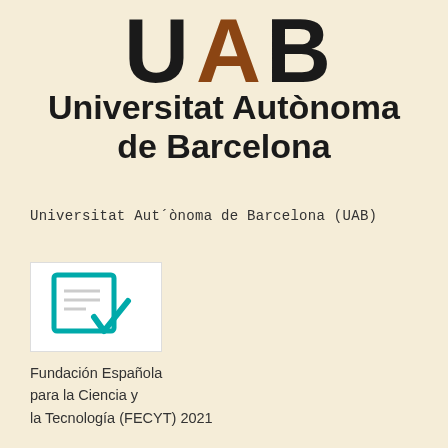[Figure (logo): UAB (Universitat Autònoma de Barcelona) logo — large stylized letters U, A (in dark brown/copper), B in black]
Universitat Autònoma de Barcelona
Universitat Aut´ònoma de Barcelona (UAB)
[Figure (logo): FECYT quality seal logo — teal/cyan square with document and checkmark icon on cream/white background]
Fundación Española para la Ciencia y la Tecnología (FECYT) 2021